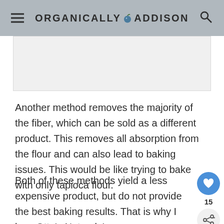ORGANICALLY ADDISON
[Figure (photo): Image placeholder / partial image at top of article]
Another method removes the majority of the fiber, which can be sold as a different product. This removes all absorption from the flour and can also lead to baking issues. This would be like trying to bake with only tapioca flour.
Both of these methods yield a less expensive product, but do not provide the best baking results. That is why I love Otto’s Naturals!